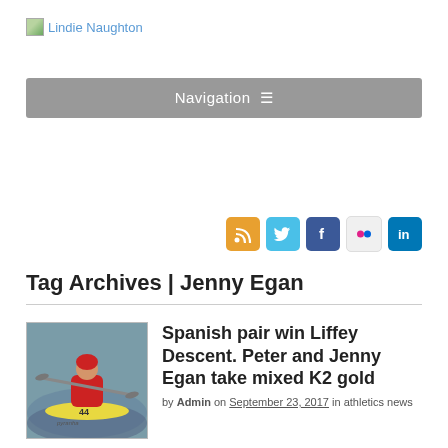Lindie Naughton
[Figure (screenshot): Navigation bar with hamburger menu icon on grey background]
[Figure (infographic): Social media icons: RSS (orange), Twitter (blue), Facebook (dark blue), Flickr (light grey), LinkedIn (blue)]
Tag Archives | Jenny Egan
[Figure (photo): A kayaker in a red jacket paddling a yellow Pyranha kayak, numbered 44]
Spanish pair win Liffey Descent. Peter and Jenny Egan take mixed K2 gold
by Admin on September 23, 2017 in athletics news